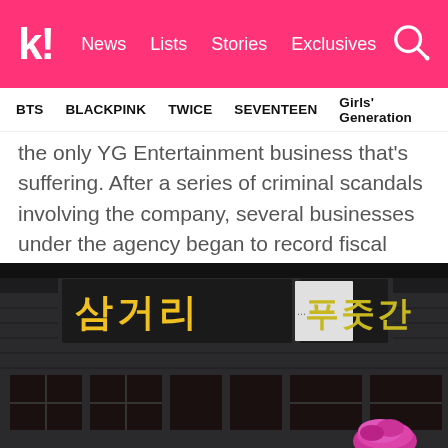k! News Lists Stories Exclusives
BTS  BLACKPINK  TWICE  SEVENTEEN  Girls' Generation
the only YG Entertainment business that's suffering. After a series of criminal scandals involving the company, several businesses under the agency began to record fiscal deficits and stock prices plummeted. As of this year, YG Entertainment has already sold up its food and cosmetics brands in order to repay debts to investors.
[Figure (photo): Nighttime exterior photo of a Korean restaurant or shop with illuminated Korean signage reading '삼거리 푸줏간' in yellow/gold characters on dark background. A person with pink/magenta hair is partially visible at the bottom right.]